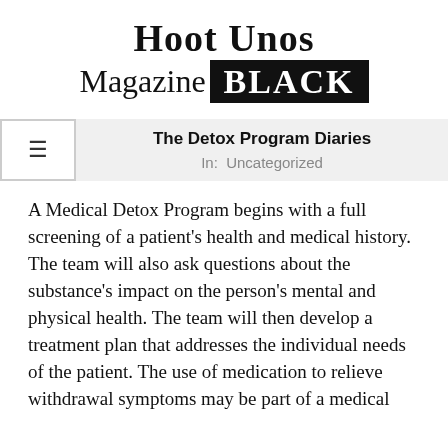Hoot Unos Magazine BLACK
The Detox Program Diaries
In: Uncategorized
A Medical Detox Program begins with a full screening of a patient's health and medical history. The team will also ask questions about the substance's impact on the person's mental and physical health. The team will then develop a treatment plan that addresses the individual needs of the patient. The use of medication to relieve withdrawal symptoms may be part of a medical